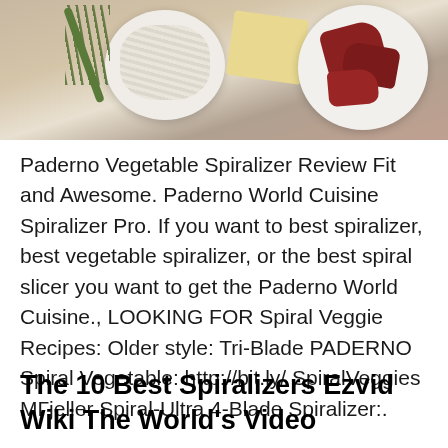[Figure (photo): Food photo showing plates with noodles/spiralized vegetables, a block of cheese, rosemary herb, and sliced red meat on a wooden surface]
Paderno Vegetable Spiralizer Review Fit and Awesome. Paderno World Cuisine Spiralizer Pro. If you want to best spiralizer, best vegetable spiralizer, or the best spiral slicer you want to get the Paderno World Cuisine., LOOKING FOR Spiral Veggie Recipes: Older style: Tri-Blade PADERNO Spiral Vegetable: http://bit.ly/ SpiralVeggies МΓjeller Spiral-Ultra 4-Blade Spiralizer:.
The 10 Best Spiralizers Ezvid Wiki The World's Video